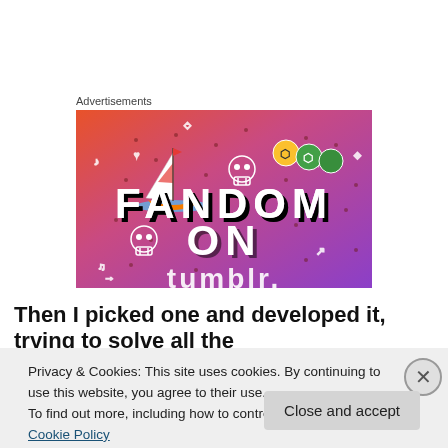Advertisements
[Figure (illustration): Fandom on Tumblr advertisement banner with colorful gradient background (orange to purple), featuring a sailboat, skull icons, dice, and large bold text reading FANDOM ON with tumblr logo partially visible at bottom.]
Then I picked one and developed it, trying to solve all the
Privacy & Cookies: This site uses cookies. By continuing to use this website, you agree to their use.
To find out more, including how to control cookies, see here: Cookie Policy
Close and accept